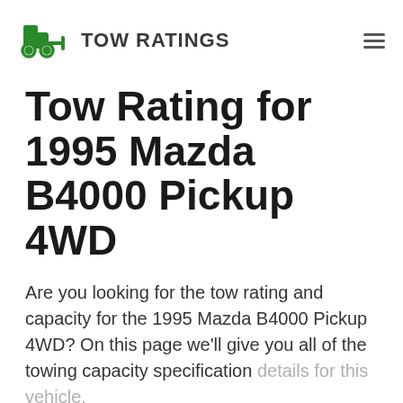TOW RATINGS
Tow Rating for 1995 Mazda B4000 Pickup 4WD
Are you looking for the tow rating and capacity for the 1995 Mazda B4000 Pickup 4WD? On this page we'll give you all of the towing capacity specification details for this vehicle.